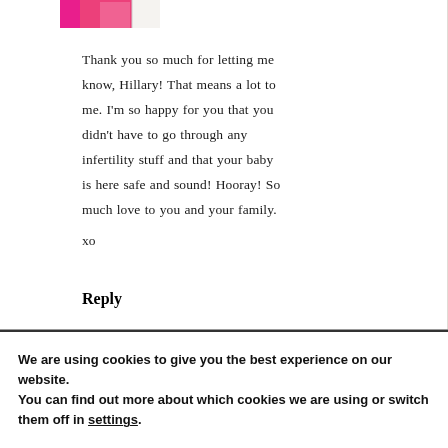[Figure (photo): Pink avatar or profile image, partially visible at top of page]
Thank you so much for letting me know, Hillary! That means a lot to me. I'm so happy for you that you didn't have to go through any infertility stuff and that your baby is here safe and sound! Hooray! So much love to you and your family. xo
Reply
We are using cookies to give you the best experience on our website.
You can find out more about which cookies we are using or switch them off in settings.
Accept